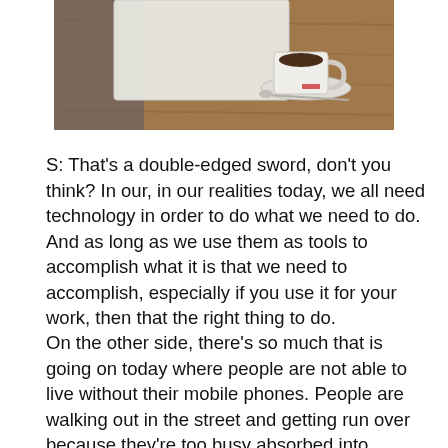[Figure (photo): Overhead view of a wooden desk with a notebook/paper and a cup of coffee on a saucer with a spoon]
S: That's a double-edged sword, don't you think? In our, in our realities today, we all need technology in order to do what we need to do. And as long as we use them as tools to accomplish what it is that we need to accomplish, especially if you use it for your work, then that the right thing to do.
On the other side, there's so much that is going on today where people are not able to live without their mobile phones. People are walking out in the street and getting run over because they're too busy absorbed into